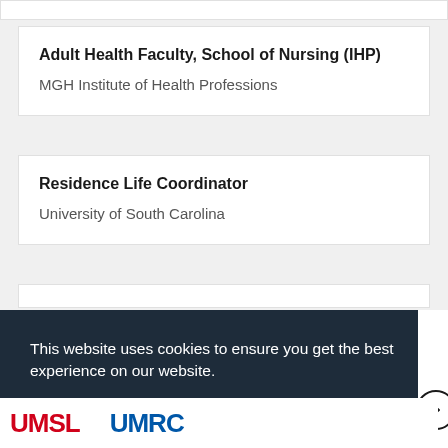Adult Health Faculty, School of Nursing (IHP)
MGH Institute of Health Professions
Residence Life Coordinator
University of South Carolina
This website uses cookies to ensure you get the best experience on our website.
Learn more
Got it!